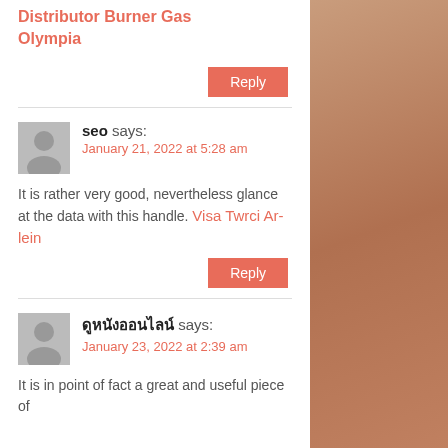Distributor Burner Gas Olympia
Reply
seo says:
January 21, 2022 at 5:28 am
It is rather very good, nevertheless glance at the data with this handle. Visa Twrci Ar-lein
Reply
ดูหนังออนไลน์ says:
January 23, 2022 at 2:39 am
It is in point of fact a great and useful piece of